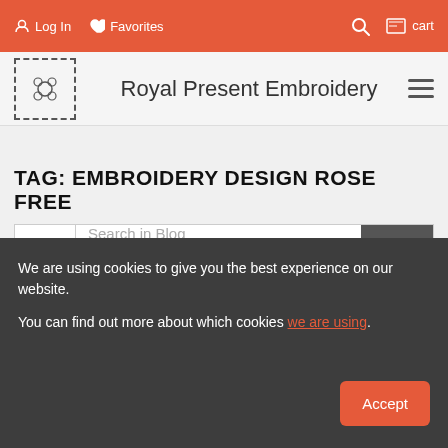Log In  Favorites  Search  cart
Royal Present Embroidery
TAG: EMBROIDERY DESIGN ROSE FREE
Search in Blog
[Figure (photo): Close-up of a white collared shirt/polo shirt on a light background]
We are using cookies to give you the best experience on our website.

You can find out more about which cookies we are using.